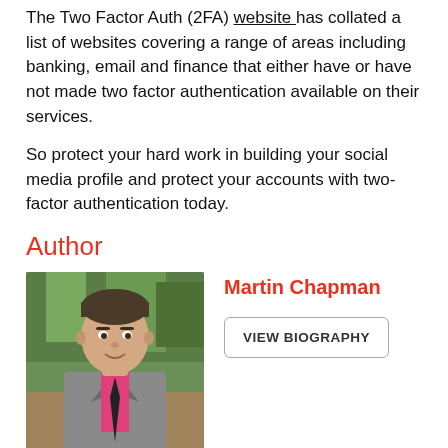The Two Factor Auth (2FA) website has collated a list of websites covering a range of areas including banking, email and finance that either have or have not made two factor authentication available on their services.
So protect your hard work in building your social media profile and protect your accounts with two-factor authentication today.
Author
[Figure (photo): Headshot of a young man in a grey suit with a pink shirt and dark tie, standing outdoors with green foliage in the background.]
Martin Chapman
VIEW BIOGRAPHY